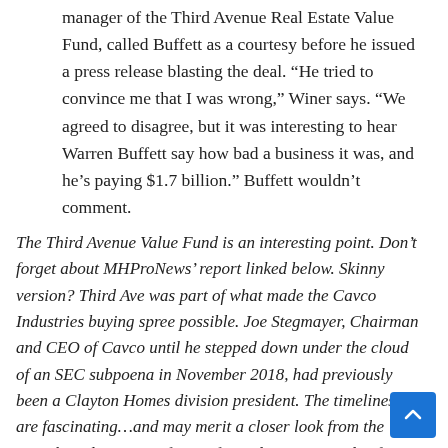manager of the Third Avenue Real Estate Value Fund, called Buffett as a courtesy before he issued a press release blasting the deal. "He tried to convince me that I was wrong," Winer says. "We agreed to disagree, but it was interesting to hear Warren Buffett say how bad a business it was, and he's paying $1.7 billion." Buffett wouldn't comment.
The Third Avenue Value Fund is an interesting point. Don't forget about MHProNews' report linked below. Skinny version? Third Ave was part of what made the Cavco Industries buying spree possible. Joe Stegmayer, Chairman and CEO of Cavco until he stepped down under the cloud of an SEC subpoena in November 2018, had previously been a Clayton Homes division president. The timelines are fascinating...and may merit a closer look from the SEC, based upon tips from informed sources inside of MHVi...